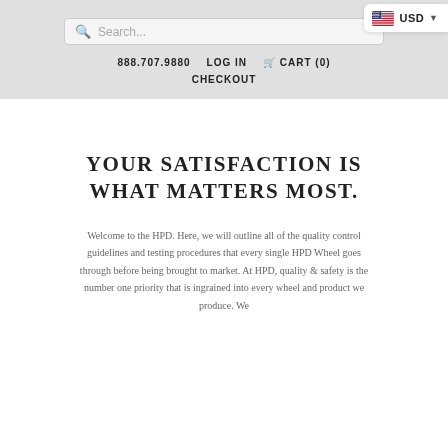USD
Search...
888.707.9880   LOG IN   CART (0)
CHECKOUT
YOUR SATISFACTION IS WHAT MATTERS MOST.
Welcome to the HPD. Here, we will outline all of the quality control guidelines and testing procedures that every single HPD Wheel goes through before being brought to market. At HPD, quality & safety is the number one priority that is ingrained into every wheel and product we produce. We